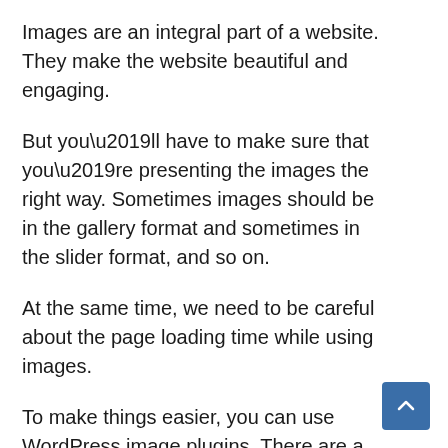Images are an integral part of a website. They make the website beautiful and engaging.
But you’ll have to make sure that you’re presenting the images the right way. Sometimes images should be in the gallery format and sometimes in the slider format, and so on.
At the same time, we need to be careful about the page loading time while using images.
To make things easier, you can use WordPress image plugins. There are a handful number of WordPress plugins that let you show images in stunning ways and optimize them for better page